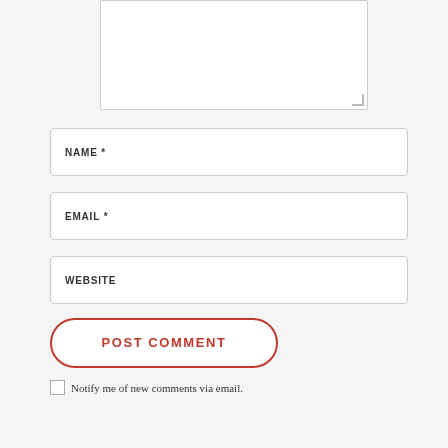[Figure (screenshot): A textarea input field (comment box), partially visible at top of page, with resize handle at bottom-right]
NAME *
EMAIL *
WEBSITE
POST COMMENT
Notify me of new comments via email.